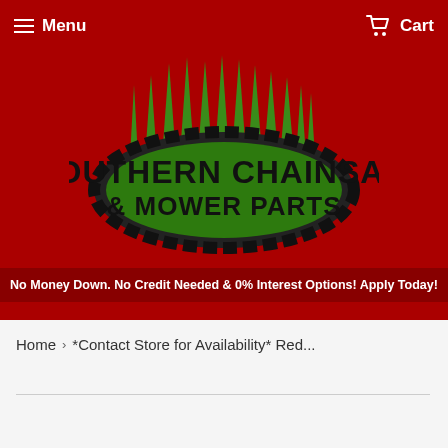Menu | Cart
[Figure (logo): Southern Chainsaw & Mower Parts logo — green chainsaw chain forming an oval frame with spiky green blades rising from the top, black bold text reading SOUTHERN CHAINSAW & MOWER PARTS on a green background]
No Money Down. No Credit Needed & 0% Interest Options! Apply Today!
Home › *Contact Store for Availability* Red...